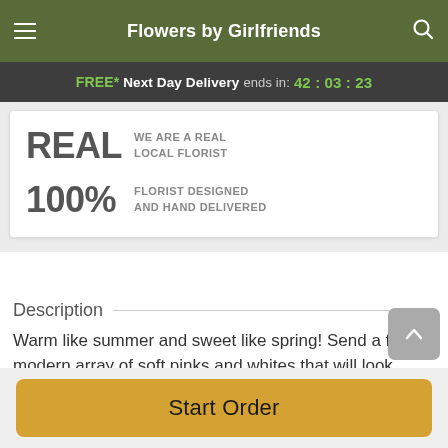Flowers by Girlfriends
FREE* Next Day Delivery ends in: 42:03:23
[Figure (infographic): Info card with two rows: 'REAL - WE ARE A REAL LOCAL FLORIST' and '100% - FLORIST DESIGNED AND HAND DELIVERED']
Description
Warm like summer and sweet like spring! Send a fresh, modern array of soft pinks and whites that will look
Start Order